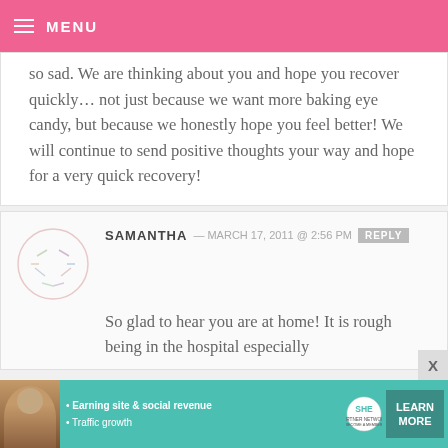MENU
so sad. We are thinking about you and hope you recover quickly... not just because we want more baking eye candy, but because we honestly hope you feel better! We will continue to send positive thoughts your way and hope for a very quick recovery!
SAMANTHA — MARCH 17, 2011 @ 2:56 PM  REPLY
So glad to hear you are at home! It is rough being in the hospital especially
[Figure (infographic): SHE Partner Network advertisement banner with woman photo, bullet points about Earning site & social revenue and Traffic growth, SHE logo, and Learn More button]